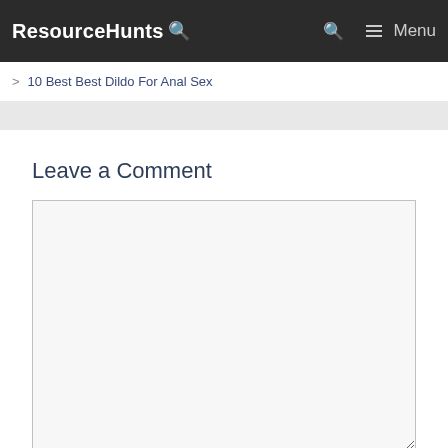ResourceHunts 🔍  🔍  ☰ Menu
> 10 Best Best Dildo For Anal Sex
Leave a Comment